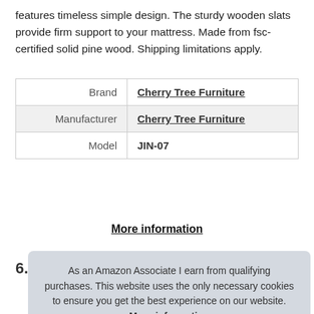features timeless simple design. The sturdy wooden slats provide firm support to your mattress. Made from fsc-certified solid pine wood. Shipping limitations apply.
| Brand | Cherry Tree Furniture |
| Manufacturer | Cherry Tree Furniture |
| Model | JIN-07 |
More information
6.
As an Amazon Associate I earn from qualifying purchases. This website uses the only necessary cookies to ensure you get the best experience on our website. More information